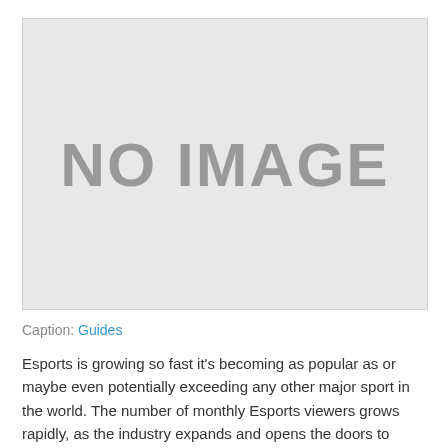[Figure (other): Placeholder image box with text 'NO IMAGE' in large gray letters on a light gray background with a border.]
Caption: Guides
Esports is growing so fast it's becoming as popular as or maybe even potentially exceeding any other major sport in the world. The number of monthly Esports viewers grows rapidly, as the industry expands and opens the doors to endless forms of entertainm...
READ MORE